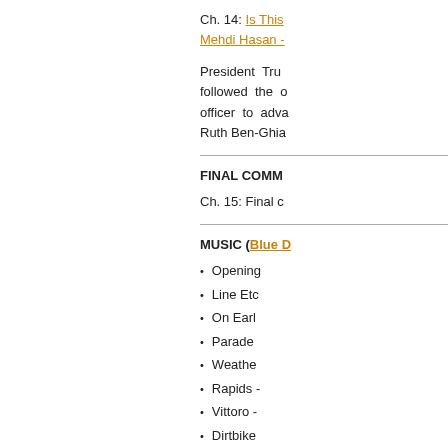Ch. 14: Is This [link] Mehdi Hasan -[link]
President Tru followed the o officer to adva Ruth Ben-Ghia
FINAL COMM
Ch. 15: Final c
MUSIC (Blue D
Opening
Line Etc
On Earl
Parade
Weathe
Rapids -
Vittoro -
Dirtbike